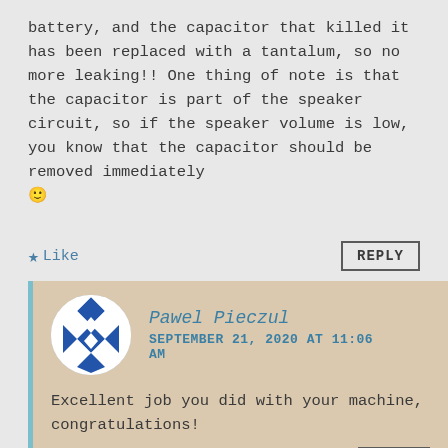battery, and the capacitor that killed it has been replaced with a tantalum, so no more leaking!! One thing of note is that the capacitor is part of the speaker circuit, so if the speaker volume is low, you know that the capacitor should be removed immediately 🙂
★ Like
REPLY
Pawel Pieczul
SEPTEMBER 21, 2020 AT 11:06 AM
Excellent job you did with your machine, congratulations!
★ Like
REPLY